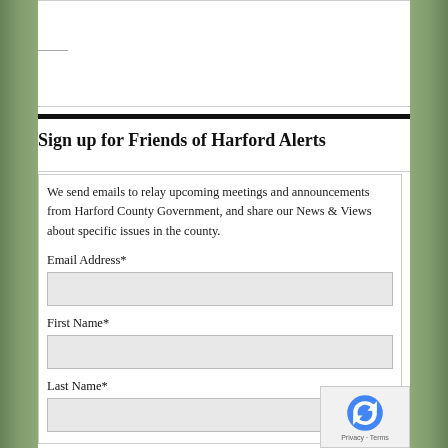Sign up for Friends of Harford Alerts
We send emails to relay upcoming meetings and announcements from Harford County Government, and share our News & Views about specific issues in the county.
Email Address*
First Name*
Last Name*